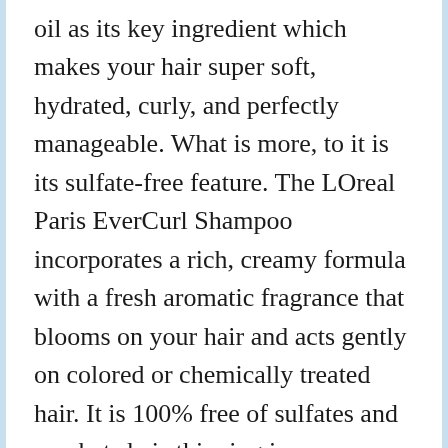oil as its key ingredient which makes your hair super soft, hydrated, curly, and perfectly manageable. What is more, to it is its sulfate-free feature. The LOreal Paris EverCurl Shampoo incorporates a rich, creamy formula with a fresh aromatic fragrance that blooms on your hair and acts gently on colored or chemically treated hair. It is 100% free of sulfates and combats hair-thinning issues.
Features:
100% Sulfate-free formula